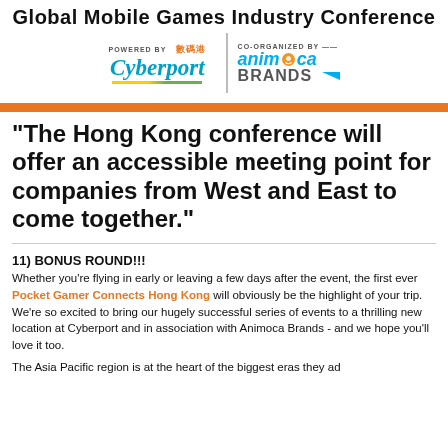Global Mobile Games Industry Conference
[Figure (logo): Cyberport and Animoca Brands logos with 'Powered By' and 'Co-Organized By' labels]
"The Hong Kong conference will offer an accessible meeting point for companies from West and East to come together."
11) BONUS ROUND!!!
Whether you're flying in early or leaving a few days after the event, the first ever Pocket Gamer Connects Hong Kong will obviously be the highlight of your trip. We're so excited to bring our hugely successful series of events to a thrilling new location at Cyberport and in association with Animoca Brands - and we hope you'll love it too.
The Asia Pacific region is at the heart of the biggest eras they ad...